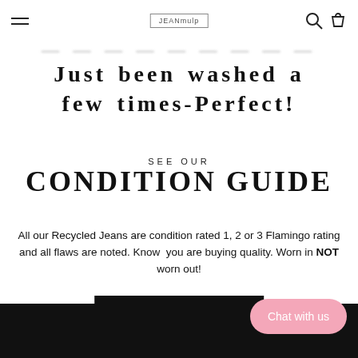JEANmulp [logo] [hamburger menu] [search icon] [cart icon]
Just been washed a few times-Perfect!
SEE OUR CONDITION GUIDE
All our Recycled Jeans are condition rated 1, 2 or 3 Flamingo rating and all flaws are noted. Know you are buying quality. Worn in NOT worn out!
CONDITION GUIDE
Chat with us